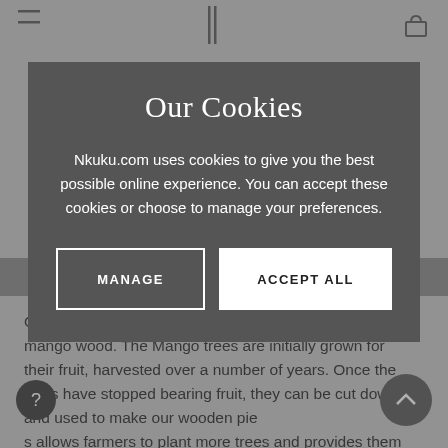Our Cookies
Nkuku.com uses cookies to give you the best possible online experience. You can accept these cookies or choose to manage your preferences.
MANAGE
ACCEPT ALL
Our mango wood pieces are created from sustainable mango wood. The Mango trees are initially grown for their fruit, harvested over a number of years. Once the trees have stopped bearing fruit, they can be cut down and used to make our wooden pie s allows farmers to plant more trees and provides them wi supplementary income.